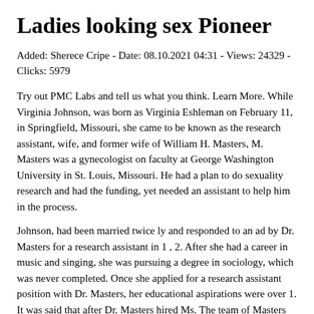Ladies looking sex Pioneer
Added: Sherece Cripe - Date: 08.10.2021 04:31 - Views: 24329 - Clicks: 5979
Try out PMC Labs and tell us what you think. Learn More. While Virginia Johnson, was born as Virginia Eshleman on February 11, in Springfield, Missouri, she came to be known as the research assistant, wife, and former wife of William H. Masters, M. Masters was a gynecologist on faculty at George Washington University in St. Louis, Missouri. He had a plan to do sexuality research and had the funding, yet needed an assistant to help him in the process.
Johnson, had been married twice ly and responded to an ad by Dr. Masters for a research assistant in 1 , 2. After she had a career in music and singing, she was pursuing a degree in sociology, which was never completed. Once she applied for a research assistant position with Dr. Masters, her educational aspirations were over 1. It was said that after Dr. Masters hired Ms. The team of Masters and Johnson helped change the way human sexuality was perceived in America and the world.
They quickly rose to national prominence because of the type of